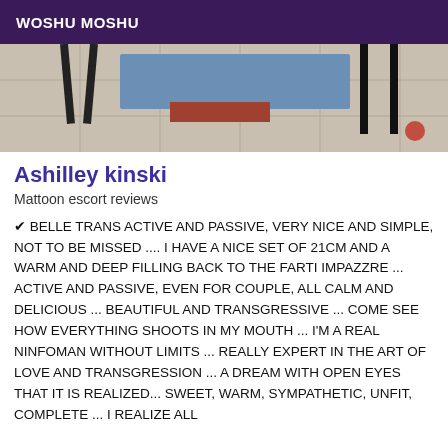WOSHU MOSHU
[Figure (photo): Interior room photo showing chair legs, tiled floor, and a blue mat/rug]
Ashilley kinski
Mattoon escort reviews
✔ BELLE TRANS ACTIVE AND PASSIVE, VERY NICE AND SIMPLE, NOT TO BE MISSED .... I HAVE A NICE SET OF 21CM AND A WARM AND DEEP FILLING BACK TO THE FARTI IMPAZZRE ... ACTIVE AND PASSIVE, EVEN FOR COUPLE, ALL CALM AND DELICIOUS ... BEAUTIFUL AND TRANSGRESSIVE ... COME SEE HOW EVERYTHING SHOOTS IN MY MOUTH ... I'M A REAL NINFOMAN WITHOUT LIMITS ... REALLY EXPERT IN THE ART OF LOVE AND TRANSGRESSION ... A DREAM WITH OPEN EYES THAT IT IS REALIZED... SWEET, WARM, SYMPATHETIC, UNFIT, COMPLETE ... I REALIZE ALL